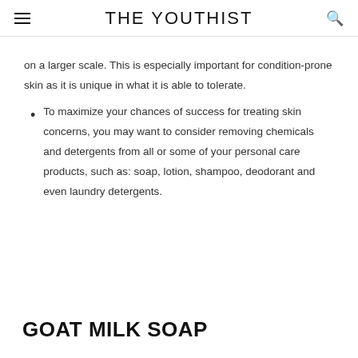THE YOUTHIST
on a larger scale. This is especially important for condition-prone skin as it is unique in what it is able to tolerate.
To maximize your chances of success for treating skin concerns, you may want to consider removing chemicals and detergents from all or some of your personal care products, such as: soap, lotion, shampoo, deodorant and even laundry detergents.
GOAT MILK SOAP